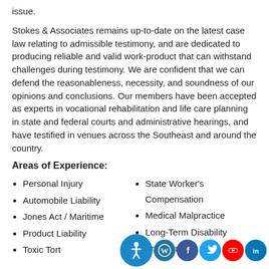issue.
Stokes & Associates remains up-to-date on the latest case law relating to admissible testimony, and are dedicated to producing reliable and valid work-product that can withstand challenges during testimony. We are confident that we can defend the reasonableness, necessity, and soundness of our opinions and conclusions. Our members have been accepted as experts in vocational rehabilitation and life care planning in state and federal courts and administrative hearings, and have testified in venues across the Southeast and around the country.
Areas of Experience:
Personal Injury
Automobile Liability
Jones Act / Maritime
Product Liability
Toxic Tort
State Worker's Compensation
Medical Malpractice
Long-Term Disability
Employment